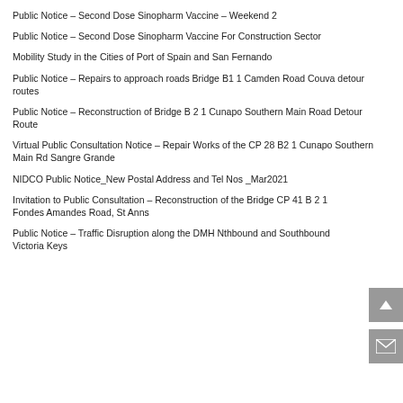Public Notice – Second Dose Sinopharm Vaccine – Weekend 2
Public Notice – Second Dose Sinopharm Vaccine For Construction Sector
Mobility Study in the Cities of Port of Spain and San Fernando
Public Notice – Repairs to approach roads Bridge B1 1 Camden Road Couva detour routes
Public Notice – Reconstruction of Bridge B 2 1 Cunapo Southern Main Road Detour Route
Virtual Public Consultation Notice – Repair Works of the CP 28 B2 1 Cunapo Southern Main Rd Sangre Grande
NIDCO Public Notice_New Postal Address and Tel Nos _Mar2021
Invitation to Public Consultation – Reconstruction of the Bridge CP 41 B 2 1 Fondes Amandes Road, St Anns
Public Notice – Traffic Disruption along the DMH Nthbound and Southbound Victoria Keys